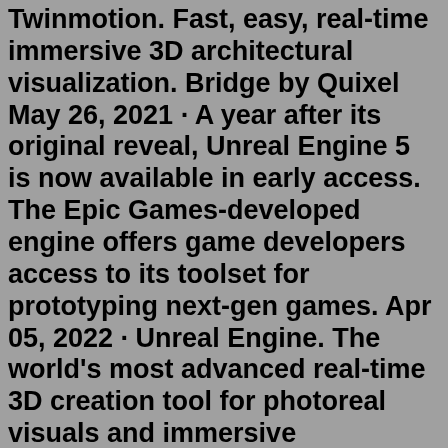Twinmotion. Fast, easy, real-time immersive 3D architectural visualization. Bridge by Quixel May 26, 2021 · A year after its original reveal, Unreal Engine 5 is now available in early access. The Epic Games-developed engine offers game developers access to its toolset for prototyping next-gen games. Apr 05, 2022 · Unreal Engine. The world's most advanced real-time 3D creation tool for photoreal visuals and immersive experiences. Unreal Engine 5 Features Licensing options Other Products MetaHuman. Framework for creating high-fidelity digital humans in minutes. Twinmotion. Fast, easy, real-time immersive 3D architectural visualization. Bridge by Quixel One-click deploying your project to devices like iOS and Android for testing. In the main tool bar of the editor, on the right side, there is a button labeled Launch, with a drop-down menu. In the drop down menu, you will see a list of possible platforms you can launch the current map on. Generally, you would not need Windows or Mac, as you can ... Finally got my computer back, downloaded epic launcher and unreal